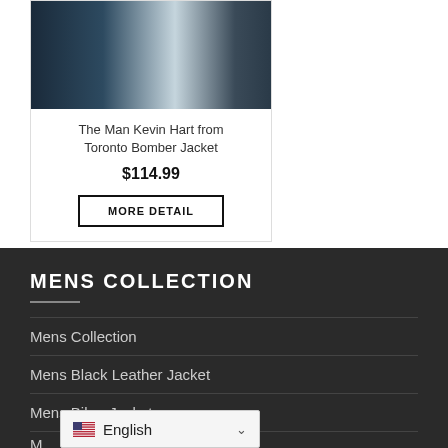[Figure (photo): Photo of a man wearing a dark bomber jacket, partially cropped at top]
The Man Kevin Hart from Toronto Bomber Jacket
$114.99
MORE DETAIL
MENS COLLECTION
Mens Collection
Mens Black Leather Jacket
Mens Biker Jackets
English